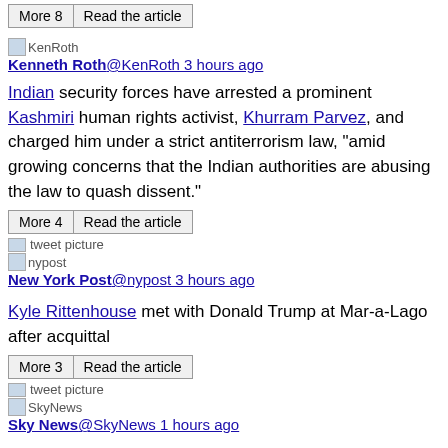More 8 | Read the article
KenRoth
Kenneth Roth@KenRoth 3 hours ago
Indian security forces have arrested a prominent Kashmiri human rights activist, Khurram Parvez, and charged him under a strict antiterrorism law, "amid growing concerns that the Indian authorities are abusing the law to quash dissent."
More 4 | Read the article
tweet picture
nypost
New York Post@nypost 3 hours ago
Kyle Rittenhouse met with Donald Trump at Mar-a-Lago after acquittal
More 3 | Read the article
tweet picture
SkyNews
Sky News@SkyNews 1 hours ago